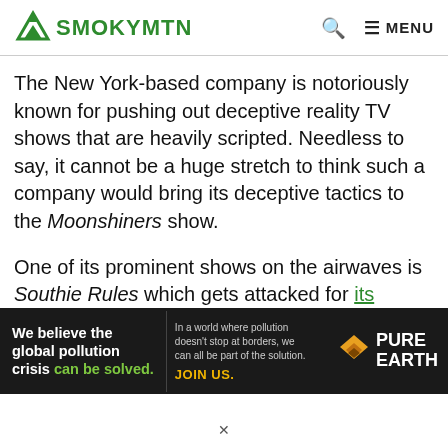SMOKYMTN
The New York-based company is notoriously known for pushing out deceptive reality TV shows that are heavily scripted. Needless to say, it cannot be a huge stretch to think such a company would bring its deceptive tactics to the Moonshiners show.
One of its prominent shows on the airwaves is Southie Rules which gets attacked for its fakeness every episode
[Figure (other): Advertisement banner for Pure Earth: 'We believe the global pollution crisis can be solved. In a world where pollution doesn't stop at borders, we can all be part of the solution. JOIN US.' with Pure Earth logo.]